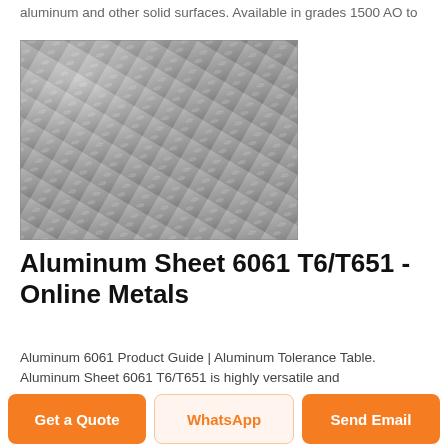aluminum and other solid surfaces. Available in grades 1500 AO to
[Figure (photo): Close-up photo of aluminum diamond plate (checker plate) sheet with raised diamond pattern texture, silver/grey metallic appearance]
Aluminum Sheet 6061 T6/T651 - Online Metals
Aluminum 6061 Product Guide | Aluminum Tolerance Table. Aluminum Sheet 6061 T6/T651 is highly versatile and
Get a Quote
WhatsApp
Send Email